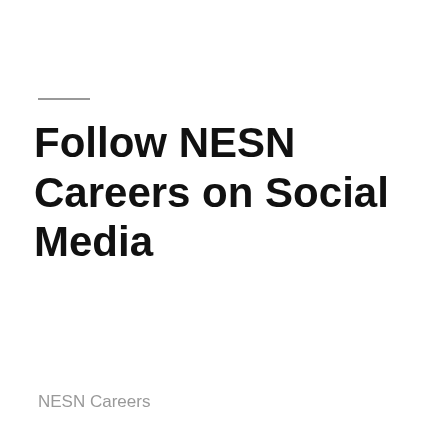Follow NESN Careers on Social Media
NESN Careers